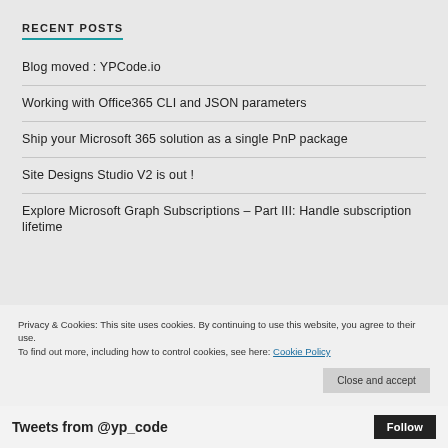RECENT POSTS
Blog moved : YPCode.io
Working with Office365 CLI and JSON parameters
Ship your Microsoft 365 solution as a single PnP package
Site Designs Studio V2 is out !
Explore Microsoft Graph Subscriptions – Part III: Handle subscription lifetime
Privacy & Cookies: This site uses cookies. By continuing to use this website, you agree to their use.
To find out more, including how to control cookies, see here: Cookie Policy
Close and accept
Tweets from @yp_code  Follow